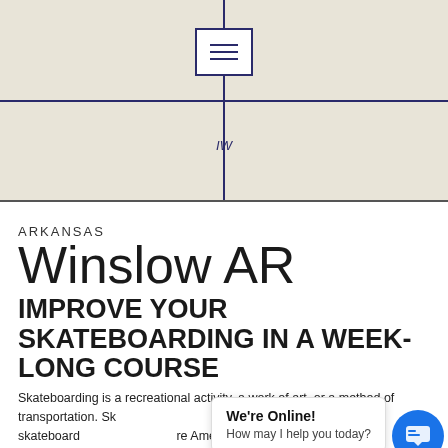[Figure (map): A map excerpt showing a road intersection centered on Winslow AR, with a menu/navigation icon box at the center of the map and a small label below.]
ARKANSAS
Winslow AR
IMPROVE YOUR SKATEBOARDING IN A WEEK-LONG COURSE
Skateboarding is a recreational activity, a work of art, or a method of transportation. Sk... nd influenced by many skateboard... re American Sports Dat... mili... te boarders in the world. 85 percent of skateboarders polled who
[Figure (screenshot): A chat widget overlay showing 'We're Online!' and 'How may I help you today?' with a blue circular chat button.]